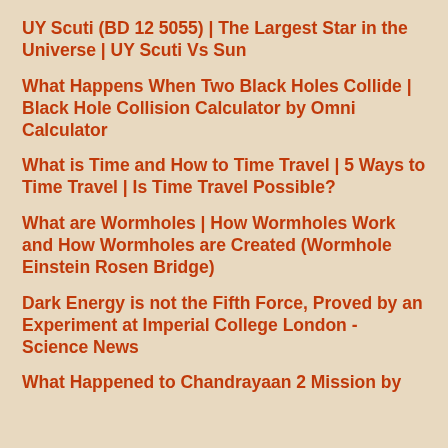UY Scuti (BD 12 5055) | The Largest Star in the Universe | UY Scuti Vs Sun
What Happens When Two Black Holes Collide | Black Hole Collision Calculator by Omni Calculator
What is Time and How to Time Travel | 5 Ways to Time Travel | Is Time Travel Possible?
What are Wormholes | How Wormholes Work and How Wormholes are Created (Wormhole Einstein Rosen Bridge)
Dark Energy is not the Fifth Force, Proved by an Experiment at Imperial College London - Science News
What Happened to Chandrayaan 2 Mission by